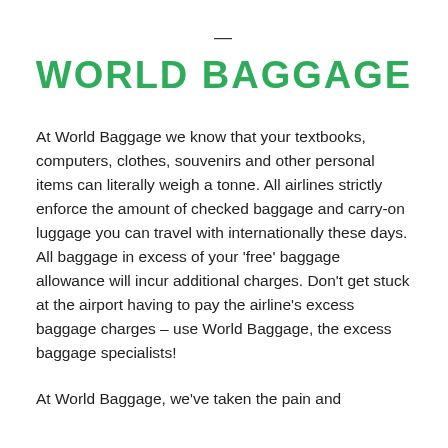WORLD BAGGAGE
At World Baggage we know that your textbooks, computers, clothes, souvenirs and other personal items can literally weigh a tonne. All airlines strictly enforce the amount of checked baggage and carry-on luggage you can travel with internationally these days. All baggage in excess of your 'free' baggage allowance will incur additional charges. Don't get stuck at the airport having to pay the airline's excess baggage charges – use World Baggage, the excess baggage specialists!
At World Baggage, we've taken the pain and